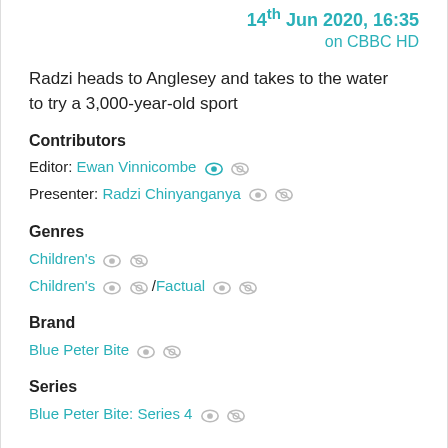14th Jun 2020, 16:35 on CBBC HD
Radzi heads to Anglesey and takes to the water to try a 3,000-year-old sport
Contributors
Editor: Ewan Vinnicombe
Presenter: Radzi Chinyanganya
Genres
Children's
Children's / Factual
Brand
Blue Peter Bite
Series
Blue Peter Bite: Series 4